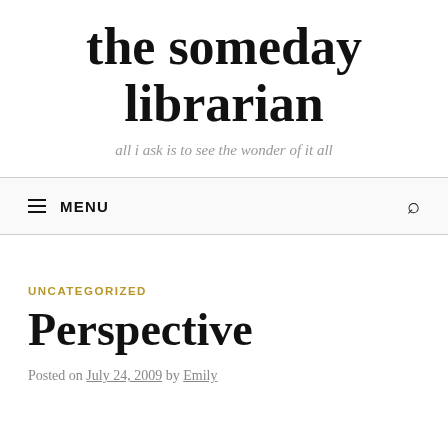the someday librarian
all i ask is to see the wonder of it all
≡ MENU
UNCATEGORIZED
Perspective
Posted on July 24, 2009 by Emily